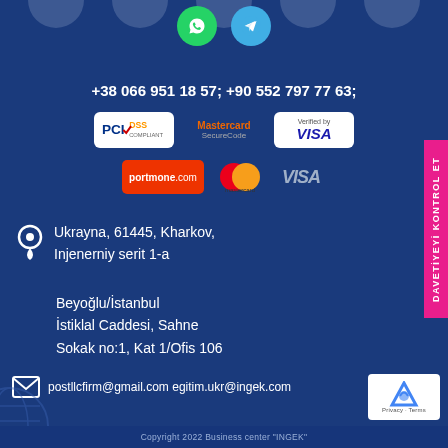[Figure (illustration): Scallop/wave top decoration with social media icons (WhatsApp and Telegram)]
+38 066 951 18 57; +90 552 797 77 63;
[Figure (logo): PCI DSS Compliant badge, Mastercard SecureCode badge, Verified by VISA badge]
[Figure (logo): portmone.com badge, Mastercard logo, VISA logo]
Ukrayna, 61445, Kharkov,
Injenerniy serit 1-a
Beyoğlu/İstanbul
İstiklal Caddesi, Sahne
Sokak no:1, Kat 1/Ofis 106
postllcfirm@gmail.com egitim.ukr@ingek.com
DAVETİYEYİ KONTROL ET
Copyright 2022 Business center "INGEK"